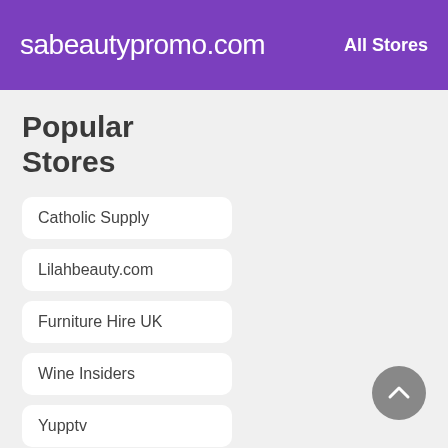sabeautypromo.com — All Stores
Popular Stores
Catholic Supply
Lilahbeauty.com
Furniture Hire UK
Wine Insiders
Yupptv
MMOGA